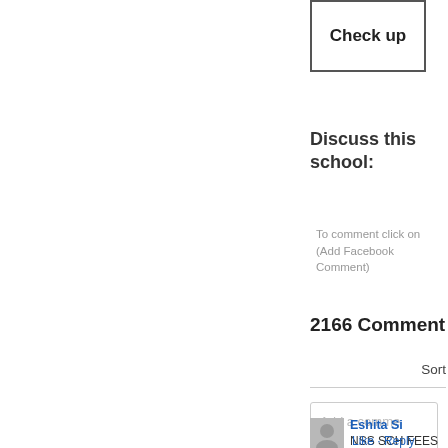Check up
Discuss this school:
To comment click on (Add Facebook Comment)
2166 Comment
Sort
Add a comme
Eshita Si
NSS SCH FEES HA BTAIYE
Like · Reply